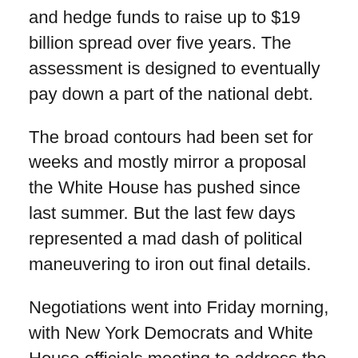and hedge funds to raise up to $19 billion spread over five years. The assessment is designed to eventually pay down a part of the national debt.
The broad contours had been set for weeks and mostly mirror a proposal the White House has pushed since last summer. But the last few days represented a mad dash of political maneuvering to iron out final details.
Negotiations went into Friday morning, with New York Democrats and White House officials meeting to address the bill’s potential impact on New York, which relies on the financial industry for employment and tax revenue.
To win broader support, Democrats softened the bill’s impact on community banks, auto dealers, and small payday lenders and check cashers.